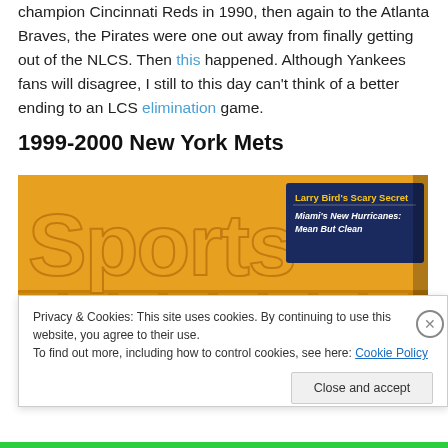champion Cincinnati Reds in 1990, then again to the Atlanta Braves, the Pirates were one out away from finally getting out of the NLCS. Then this happened. Although Yankees fans will disagree, I still to this day can't think of a better ending to an LCS elimination game.
1999-2000 New York Mets
[Figure (screenshot): Sports Illustrated magazine cover with orange bold 'Sports' text and a dark blue overlay box reading: Larry Bird's Scary Secret / Miami's New Hurricanes: Mean But Clean]
Privacy & Cookies: This site uses cookies. By continuing to use this website, you agree to their use.
To find out more, including how to control cookies, see here: Cookie Policy
Close and accept